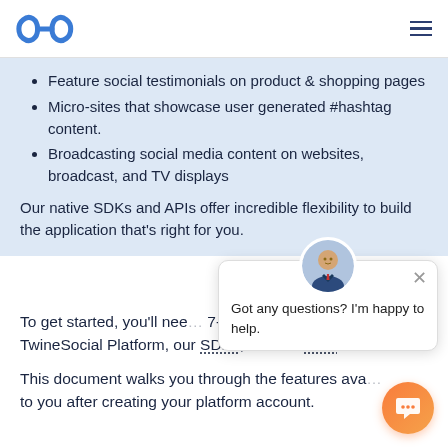TwineSocial logo and navigation
Feature social testimonials on product & shopping pages
Micro-sites that showcase user generated #hashtag content.
Broadcasting social media content on websites, broadcast, and TV displays
Our native SDKs and APIs offer incredible flexibility to build the application that's right for you.
To get started, you'll nee… 7-day trials give you full,… TwineSocial Platform, our SDKs, and our APIs.
This document walks you through the features ava… to you after creating your platform account.
[Figure (other): Chat widget overlay with avatar photo and message: Got any questions? I'm happy to help.]